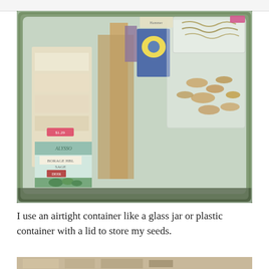[Figure (photo): A clear plastic storage container with a lid open, filled with various seed packets and plastic bags of seeds. Visible seed packets include Alyssum, Sage, and others. Loose seeds in plastic bags are also visible including what appear to be squash or pumpkin seeds.]
I use an airtight container like a glass jar or plastic container with a lid to store my seeds.
[Figure (photo): Partial view of another photo at the bottom of the page, showing what appears to be seed packets or containers on a surface.]